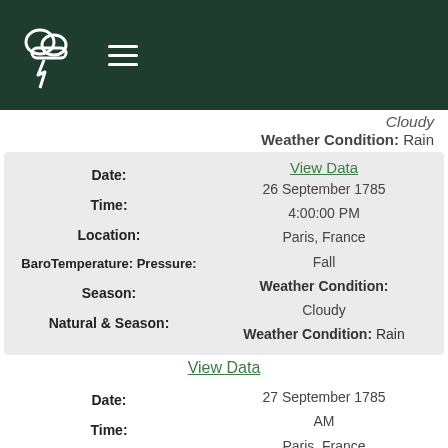Weather App header with cloud/lightning logo and hamburger menu
Cloudy
Weather Condition: Rain
View Data
26 September 1785
4:00:00 PM
Paris, France
Date: | Time: | Location: | Temperature: / Barometric Pressure: | Season: | Natural & Season:
Fall
Weather Condition: Cloudy
Weather Condition: Rain
View Data
27 September 1785
AM
Paris, France
Date: | Time: | Location: | Temperature:
50.00